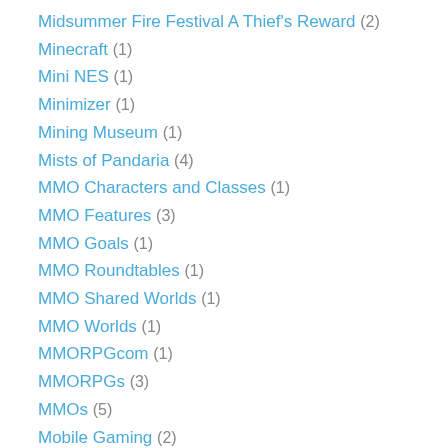Midsummer Fire Festival A Thief's Reward (2)
Minecraft (1)
Mini NES (1)
Minimizer (1)
Mining Museum (1)
Mists of Pandaria (4)
MMO Characters and Classes (1)
MMO Features (3)
MMO Goals (1)
MMO Roundtables (1)
MMO Shared Worlds (1)
MMO Worlds (1)
MMORPGcom (1)
MMORPGs (3)
MMOs (5)
Mobile Gaming (2)
Modern Storyteller (1)
Monster Bash (1)
Monster Play (1)
Monthly Wrapup (1)